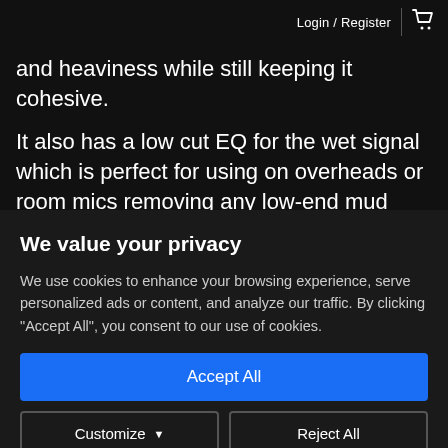Login / Register
and heaviness while still keeping it cohesive.
It also has a low cut EQ for the wet signal which is perfect for using on overheads or room mics removing any low-end mud from the mix.
We value your privacy
We use cookies to enhance your browsing experience, serve personalized ads or content, and analyze our traffic. By clicking "Accept All", you consent to our use of cookies.
Accept All
Customize
Reject All